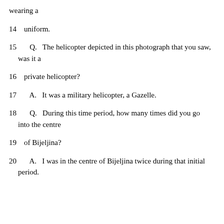wearing a
14   uniform.
15   Q.   The helicopter depicted in this photograph that you saw, was it a
16   private helicopter?
17   A.   It was a military helicopter, a Gazelle.
18   Q.   During this time period, how many times did you go into the centre
19   of Bijeljina?
20   A.   I was in the centre of Bijeljina twice during that initial period.